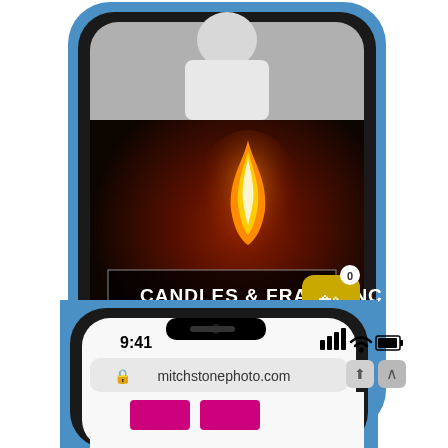[Figure (screenshot): Two iPhone XR devices (blue) shown. Top phone displays a candle and fragrance e-commerce website with a dark background featuring a flame image and text 'CANDLES & FRAGRANC' with a shopping basket icon showing 0 items. Bottom phone (reflected/mirrored) shows the same phone with status bar time 9:41, signal and battery indicators, and Safari browser showing mitchstonephoto.com URL bar.]